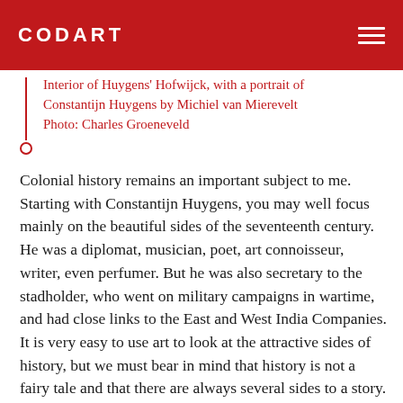CODART
Interior of Huygens' Hofwijck, with a portrait of Constantijn Huygens by Michiel van Mierevelt
Photo: Charles Groeneveld
Colonial history remains an important subject to me. Starting with Constantijn Huygens, you may well focus mainly on the beautiful sides of the seventeenth century. He was a diplomat, musician, poet, art connoisseur, writer, even perfumer. But he was also secretary to the stadholder, who went on military campaigns in wartime, and had close links to the East and West India Companies. It is very easy to use art to look at the attractive sides of history, but we must bear in mind that history is not a fairy tale and that there are always several sides to a story. As a museum, you have a responsibility in this respect.